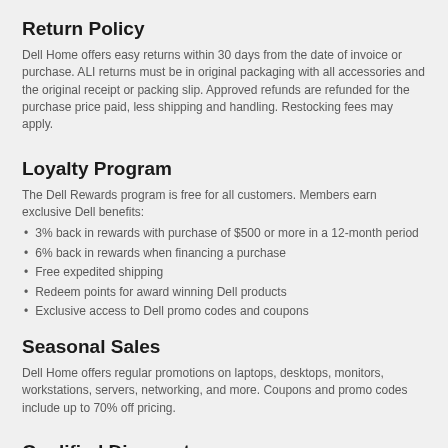Return Policy
Dell Home offers easy returns within 30 days from the date of invoice or purchase. ALI returns must be in original packaging with all accessories and the original receipt or packing slip. Approved refunds are refunded for the purchase price paid, less shipping and handling. Restocking fees may apply.
Loyalty Program
The Dell Rewards program is free for all customers. Members earn exclusive Dell benefits:
3% back in rewards with purchase of $500 or more in a 12-month period
6% back in rewards when financing a purchase
Free expedited shipping
Redeem points for award winning Dell products
Exclusive access to Dell promo codes and coupons
Seasonal Sales
Dell Home offers regular promotions on laptops, desktops, monitors, workstations, servers, networking, and more. Coupons and promo codes include up to 70% off pricing.
Qualified Discounts